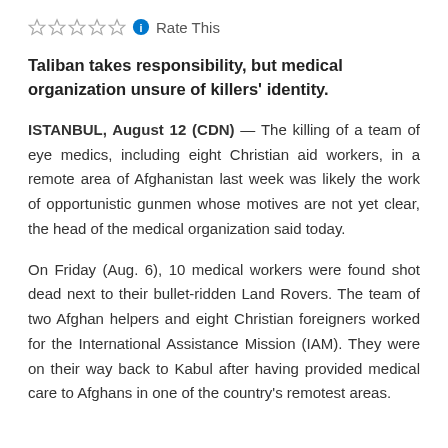Rate This
Taliban takes responsibility, but medical organization unsure of killers' identity.
ISTANBUL, August 12 (CDN) — The killing of a team of eye medics, including eight Christian aid workers, in a remote area of Afghanistan last week was likely the work of opportunistic gunmen whose motives are not yet clear, the head of the medical organization said today.
On Friday (Aug. 6), 10 medical workers were found shot dead next to their bullet-ridden Land Rovers. The team of two Afghan helpers and eight Christian foreigners worked for the International Assistance Mission (IAM). They were on their way back to Kabul after having provided medical care to Afghans in one of the country's remotest areas.